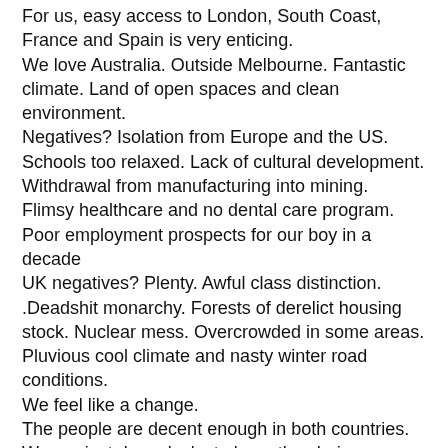For us, easy access to London, South Coast, France and Spain is very enticing. We love Australia. Outside Melbourne. Fantastic climate. Land of open spaces and clean environment. Negatives? Isolation from Europe and the US. Schools too relaxed. Lack of cultural development. Withdrawal from manufacturing into mining. Flimsy healthcare and no dental care program. Poor employment prospects for our boy in a decade UK negatives? Plenty. Awful class distinction. .Deadshit monarchy. Forests of derelict housing stock. Nuclear mess. Overcrowded in some areas. Pluvious cool climate and nasty winter road conditions. We feel like a change. The people are decent enough in both countries. We are just damn lucky to have the choice.